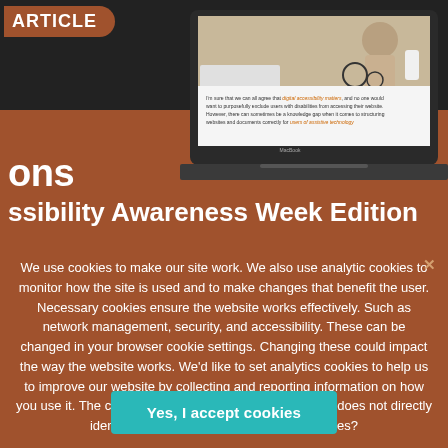[Figure (screenshot): Laptop showing a web article about digital accessibility, with a person in a wheelchair visible on screen. An 'ARTICLE' badge is shown top left.]
ons
ssibility Awareness Week Edition
We use cookies to make our site work. We also use analytic cookies to monitor how the site is used and to make changes that benefit the user. Necessary cookies ensure the website works effectively. Such as network management, security, and accessibility. These can be changed in your browser cookie settings. Changing these could impact the way the website works. We'd like to set analytics cookies to help us to improve our website by collecting and reporting information on how you use it. The cookies collect information in a way that does not directly identify anyone. Do you accept these cookies?
Yes, I accept cookies